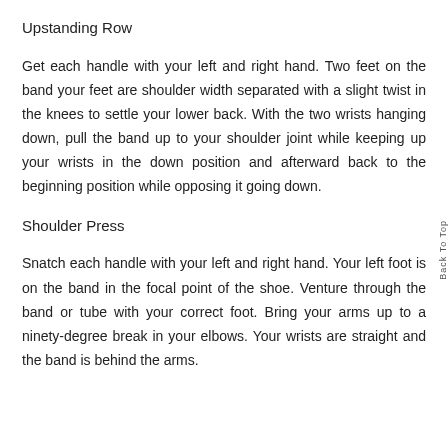Upstanding Row
Get each handle with your left and right hand. Two feet on the band your feet are shoulder width separated with a slight twist in the knees to settle your lower back. With the two wrists hanging down, pull the band up to your shoulder joint while keeping up your wrists in the down position and afterward back to the beginning position while opposing it going down.
Shoulder Press
Snatch each handle with your left and right hand. Your left foot is on the band in the focal point of the shoe. Venture through the band or tube with your correct foot. Bring your arms up to a ninety-degree break in your elbows. Your wrists are straight and the band is behind the arms.